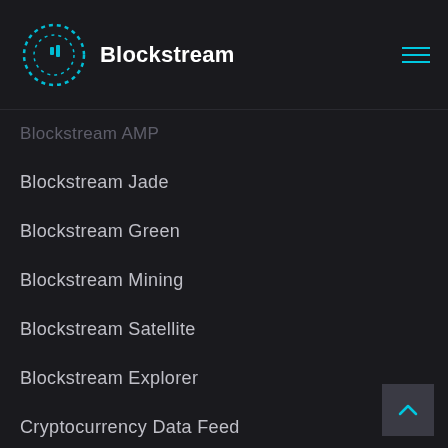Blockstream
Blockstream AMP
Blockstream Jade
Blockstream Green
Blockstream Mining
Blockstream Satellite
Blockstream Explorer
Cryptocurrency Data Feed
Core Lightning
Elements